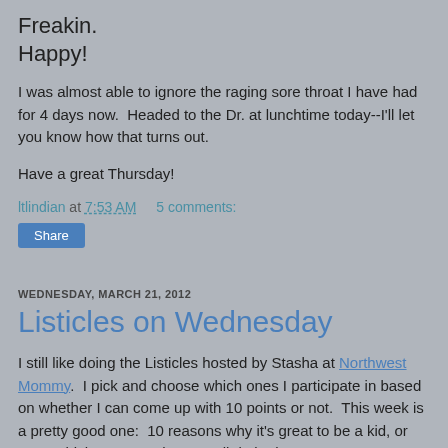Freakin.
Happy!
I was almost able to ignore the raging sore throat I have had for 4 days now.  Headed to the Dr. at lunchtime today--I'll let you know how that turns out.
Have a great Thursday!
ltlindian at 7:53 AM    5 comments:
Share
WEDNESDAY, MARCH 21, 2012
Listicles on Wednesday
I still like doing the Listicles hosted by Stasha at Northwest Mommy.  I pick and choose which ones I participate in based on whether I can come up with 10 points or not.  This week is a pretty good one:  10 reasons why it's great to be a kid, or not!  Whichever you choose.  I'll do both.